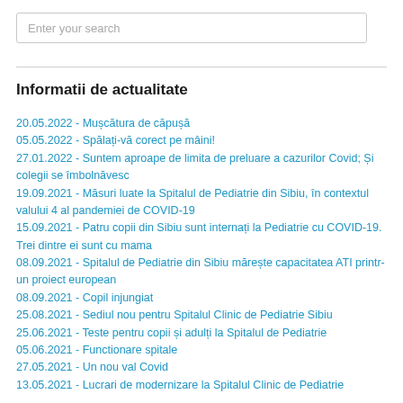Enter your search
Informatii de actualitate
20.05.2022 - Mușcătura de căpușă
05.05.2022 - Spălați-vă corect pe mâini!
27.01.2022 - Suntem aproape de limita de preluare a cazurilor Covid; Și colegii se îmbolnăvesc
19.09.2021 - Măsuri luate la Spitalul de Pediatrie din Sibiu, în contextul valului 4 al pandemiei de COVID-19
15.09.2021 - Patru copii din Sibiu sunt internați la Pediatrie cu COVID-19. Trei dintre ei sunt cu mama
08.09.2021 - Spitalul de Pediatrie din Sibiu mărește capacitatea ATI printr-un proiect european
08.09.2021 - Copil injungiat
25.08.2021 - Sediul nou pentru Spitalul Clinic de Pediatrie Sibiu
25.06.2021 - Teste pentru copii și adulți la Spitalul de Pediatrie
05.06.2021 - Functionare spitale
27.05.2021 - Un nou val Covid
13.05.2021 - Lucrari de modernizare la Spitalul Clinic de Pediatrie